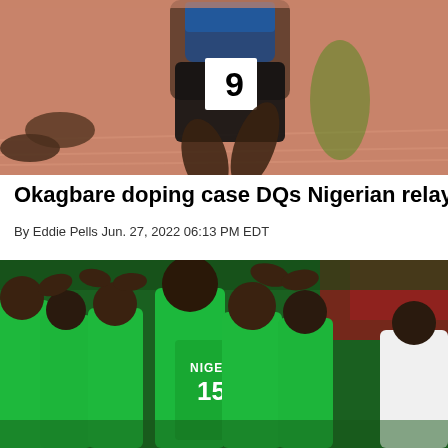[Figure (photo): Athlete wearing bib number 9 running on a pink track surface, sprinting in a race, lower body visible]
Okagbare doping case DQs Nigerian relay team from worlds
By Eddie Pells Jun. 27, 2022 06:13 PM EDT
[Figure (photo): Nigerian basketball team in green jerseys, player number 15 visible with text NIGERIA on jersey, players huddling and high-fiving]